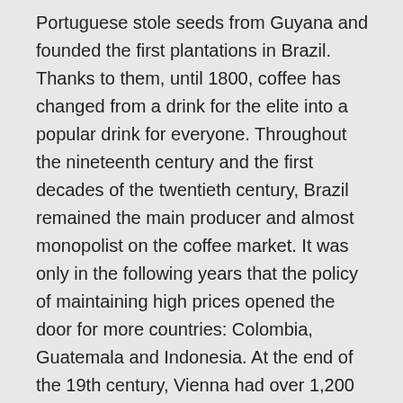Portuguese stole seeds from Guyana and founded the first plantations in Brazil. Thanks to them, until 1800, coffee has changed from a drink for the elite into a popular drink for everyone. Throughout the nineteenth century and the first decades of the twentieth century, Brazil remained the main producer and almost monopolist on the coffee market. It was only in the following years that the policy of maintaining high prices opened the door for more countries: Colombia, Guatemala and Indonesia. At the end of the 19th century, Vienna had over 1,200 cafes.
Currently, coffee is one of the most popular drinks in the world. It is estimated we drink about 400 billion cups a year.
That concludes a very brief history of this extremely popular and delicious drink. In the next entry on the